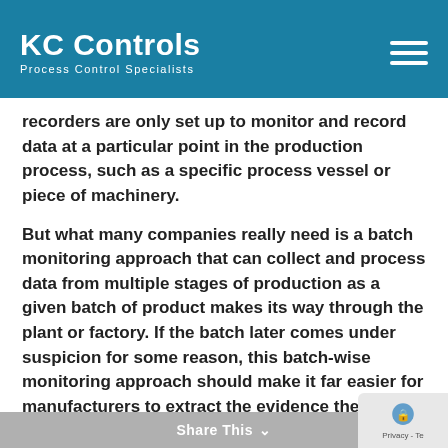KC Controls — Process Control Specialists
recorders are only set up to monitor and record data at a particular point in the production process, such as a specific process vessel or piece of machinery.
But what many companies really need is a batch monitoring approach that can collect and process data from multiple stages of production as a given batch of product makes its way through the plant or factory. If the batch later comes under suspicion for some reason, this batch-wise monitoring approach should make it far easier for manufacturers to extract the evidence they need to show that they have followed best practice procedures from start to finish.
Share This